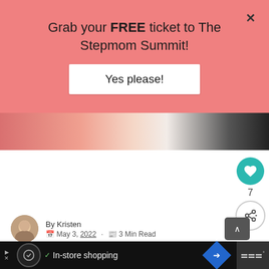Grab your FREE ticket to The Stepmom Summit!
Yes please!
[Figure (photo): Article hero image strip showing a woman in floral clothing against a pink/dark background]
What I Want To Say To The Stepmom On Mother's Day
By Kristen
May 3, 2022 · 3 Min Read
If you think being a mom is a thankle… try being a stepmom on Mother's Day. Have
WHAT'S NEXT → Text STEPMOM t...
In-store shopping